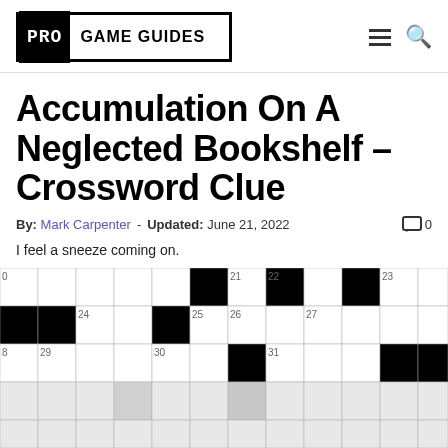PRO GAME GUIDES
Accumulation On A Neglected Bookshelf – Crossword Clue
By: Mark Carpenter - Updated: June 21, 2022
I feel a sneeze coming on.
[Figure (other): Partial crossword puzzle grid showing numbered squares and black squares. Visible numbers include 0, 21, 22, 23, 24, 25, 26, 27, 29, 30, 31. Some cells are black, some white, some light gray at bottom.]